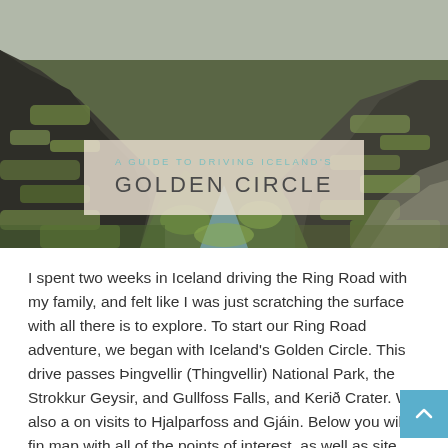[Figure (photo): Landscape photograph of Iceland's Þingvellir rift valley with mossy green rocky canyon terrain, overcast sky]
A GUIDE TO DRIVING ICELAND'S GOLDEN CIRCLE
I spent two weeks in Iceland driving the Ring Road with my family, and felt like I was just scratching the surface with all there is to explore. To start our Ring Road adventure, we began with Iceland's Golden Circle. This drive passes Þingvellir (Thingvellir) National Park, the Strokkur Geysir, and Gullfoss Falls, and Kerið Crater. We also add on visits to Hjalparfoss and Gjáin. Below you will find a map with all of the points of interest, as well as site